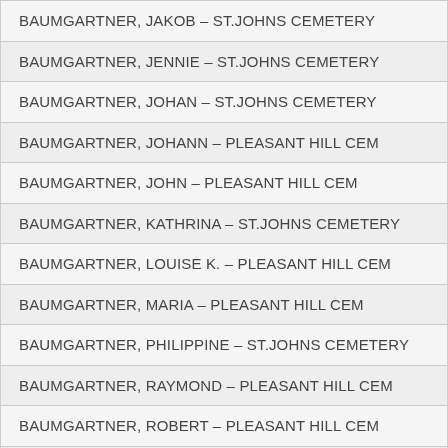| BAUMGARTNER, JAKOB – ST.JOHNS CEMETERY |
| BAUMGARTNER, JENNIE – ST.JOHNS CEMETERY |
| BAUMGARTNER, JOHAN – ST.JOHNS CEMETERY |
| BAUMGARTNER, JOHANN – PLEASANT HILL CEM |
| BAUMGARTNER, JOHN – PLEASANT HILL CEM |
| BAUMGARTNER, KATHRINA – ST.JOHNS CEMETERY |
| BAUMGARTNER, LOUISE K. – PLEASANT HILL CEM |
| BAUMGARTNER, MARIA – PLEASANT HILL CEM |
| BAUMGARTNER, PHILIPPINE – ST.JOHNS CEMETERY |
| BAUMGARTNER, RAYMOND – PLEASANT HILL CEM |
| BAUMGARTNER, ROBERT – PLEASANT HILL CEM |
| BAUSOR, CHARLES T. – FRANKFORT TWP CEMETERY |